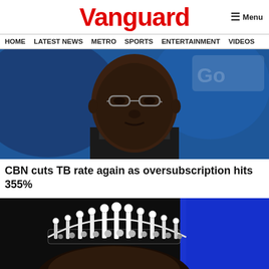Vanguard
HOME  LATEST NEWS  METRO  SPORTS  ENTERTAINMENT  VIDEOS
[Figure (photo): Close-up photo of a man wearing glasses against a blue background]
CBN cuts TB rate again as oversubscription hits 355%
[Figure (photo): Person wearing an ornate crown or tiara with blue background]